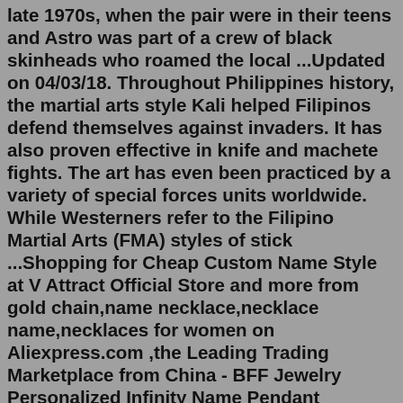late 1970s, when the pair were in their teens and Astro was part of a crew of black skinheads who roamed the local ...Updated on 04/03/18. Throughout Philippines history, the martial arts style Kali helped Filipinos defend themselves against invaders. It has also proven effective in knife and machete fights. The art has even been practiced by a variety of special forces units worldwide. While Westerners refer to the Filipino Martial Arts (FMA) styles of stick ...Shopping for Cheap Custom Name Style at V Attract Official Store and more from gold chain,name necklace,necklace name,necklaces for women on Aliexpress.com ,the Leading Trading Marketplace from China - BFF Jewelry Personalized Infinity Name Pendant Necklace Heart Charm Statement Kolye Custom Eternity Couple Family Names Necklace,Personalized Crown Name Necklaces Stainless Steel Jewelry ... Profile. He came from a humble background and Aaqib Javed took him under his wing and provided him with the cricket gear. He is a typical Pakistani pacemen, who can swing the new and the old ball